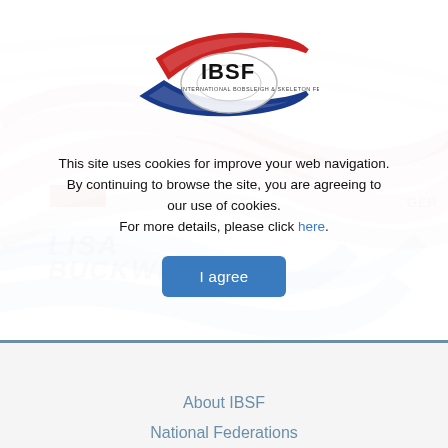[Figure (logo): IBSF International Bobsleigh & Skeleton Federation logo with red and blue swoosh design around a bobsled]
This site uses cookies for improve your web navigation. By continuing to browse the site, you are agreeing to our use of cookies. For more details, please click here.
I agree
About IBSF
National Federations